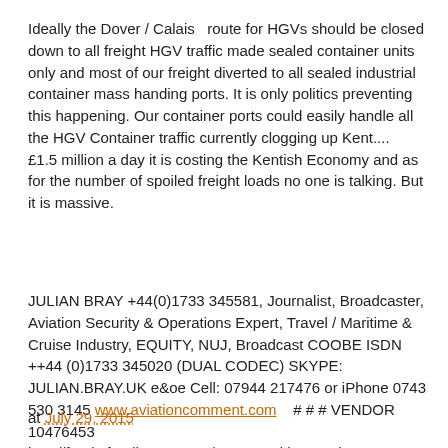Ideally the Dover / Calais  route for HGVs should be closed down to all freight HGV traffic made sealed container units only and most of our freight diverted to all sealed industrial container mass handing ports. It is only politics preventing this happening. Our container ports could easily handle all the HGV Container traffic currently clogging up Kent....    £1.5 million a day it is costing the Kentish Economy and as for the number of spoiled freight loads no one is talking. But it is massive.
JULIAN BRAY +44(0)1733 345581, Journalist, Broadcaster, Aviation Security & Operations Expert, Travel / Maritime & Cruise Industry, EQUITY, NUJ, Broadcast COOBE ISDN ++44 (0)1733 345020 (DUAL CODEC) SKYPE: JULIAN.BRAY.UK e&oe Cell: 07944 217476 or iPhone 0743 530 3145 www.aviationcomment.com    # # # VENDOR 10476453 http://feeds.feedburner.com/BraysDuckhouseBlog
at July 29, 2015